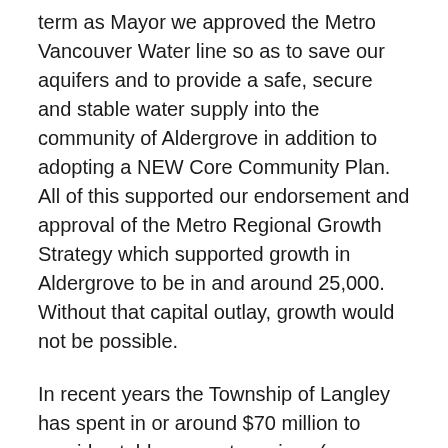term as Mayor we approved the Metro Vancouver Water line so as to save our aquifers and to provide a safe, secure and stable water supply into the community of Aldergrove in addition to adopting a NEW Core Community Plan. All of this supported our endorsement and approval of the Metro Regional Growth Strategy which supported growth in Aldergrove to be in and around 25,000. Without that capital outlay, growth would not be possible.
In recent years the Township of Langley has spent in or around $70 million to provide stable support services (sewer and water) to Aldergrove and the Gloucester Industrial Park. With all of this population growth and development – We are building an OUTDOOR Pool? While I know none of you want to take my advice, I would strongly suggest an immediate review be conducted of the